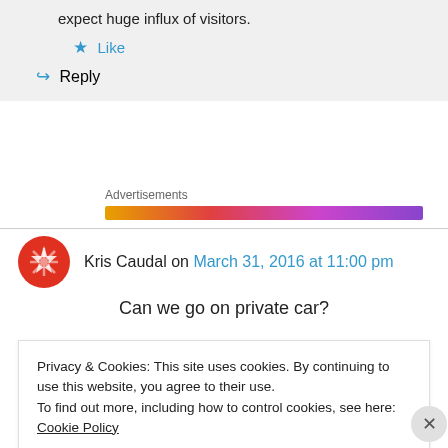expect huge influx of visitors.
★ Like
↪ Reply
Advertisements
Kris Caudal on March 31, 2016 at 11:00 pm
Can we go on private car?
Privacy & Cookies: This site uses cookies. By continuing to use this website, you agree to their use.
To find out more, including how to control cookies, see here: Cookie Policy
Close and accept